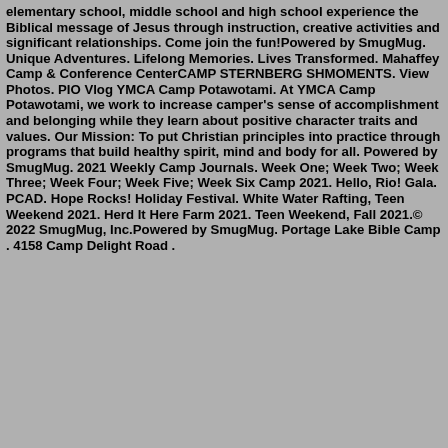elementary school, middle school and high school experience the Biblical message of Jesus through instruction, creative activities and significant relationships. Come join the fun!Powered by SmugMug. Unique Adventures. Lifelong Memories. Lives Transformed. Mahaffey Camp & Conference CenterCAMP STERNBERG SHMOMENTS. View Photos. PIO Vlog YMCA Camp Potawotami. At YMCA Camp Potawotami, we work to increase camper's sense of accomplishment and belonging while they learn about positive character traits and values. Our Mission: To put Christian principles into practice through programs that build healthy spirit, mind and body for all. Powered by SmugMug. 2021 Weekly Camp Journals. Week One; Week Two; Week Three; Week Four; Week Five; Week Six Camp 2021. Hello, Rio! Gala. PCAD. Hope Rocks! Holiday Festival. White Water Rafting, Teen Weekend 2021. Herd It Here Farm 2021. Teen Weekend, Fall 2021.© 2022 SmugMug, Inc.Powered by SmugMug. Portage Lake Bible Camp . 4158 Camp Delight Road .